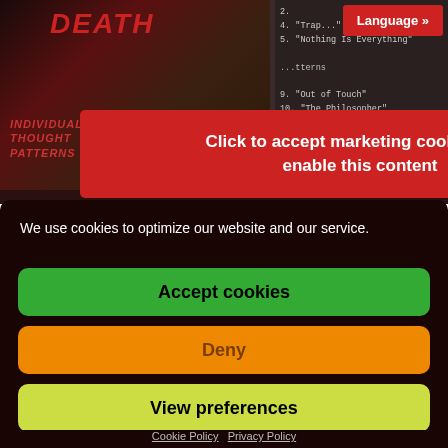[Figure (screenshot): Partially visible music website showing Death band album 'Individual Thought Patterns' with track listing, website links, and store buttons. A red 'Click to accept marketing cookies and enable this content' overlay banner is visible on top of the image. A red 'Language »' button is in the top right corner.]
We use cookies to optimize our website and our service.
Accept cookies
Deny
View preferences
Cookie Policy  Privacy Policy